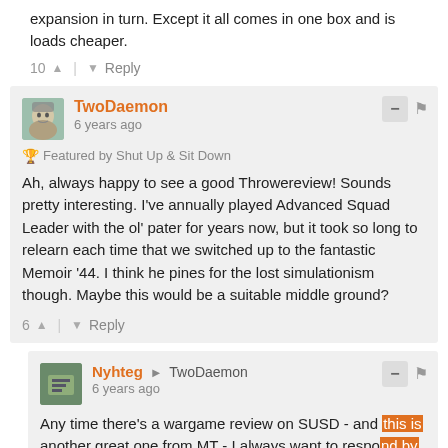expansion in turn. Except it all comes in one box and is loads cheaper.
10 ↑ | ↓ Reply
TwoDaemon
6 years ago
🏆 Featured by Shut Up & Sit Down
Ah, always happy to see a good Throwereview! Sounds pretty interesting. I've annually played Advanced Squad Leader with the ol' pater for years now, but it took so long to relearn each time that we switched up to the fantastic Memoir '44. I think he pines for the lost simulationism though. Maybe this would be a suitable middle ground?
6 ↑ | ↓ Reply
Nyhteg → TwoDaemon
6 years ago
Any time there's a wargame review on SUSD - and this is another great one from MT - I always want to respond by saying "Up Front" because, in my opinion, it's just brilliant. So I he...